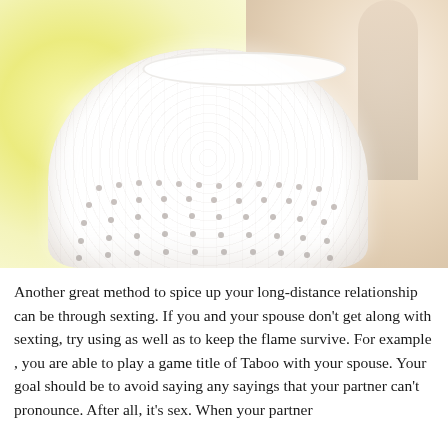[Figure (photo): Close-up photograph of a white lace bra with beaded/gem embellishments against a blurred yellow-green and beige background]
Another great method to spice up your long-distance relationship can be through sexting. If you and your spouse don't get along with sexting, try using as well as to keep the flame survive. For example , you are able to play a game title of Taboo with your spouse. Your goal should be to avoid saying any sayings that your partner can't pronounce. After all, it's sex. When your partner